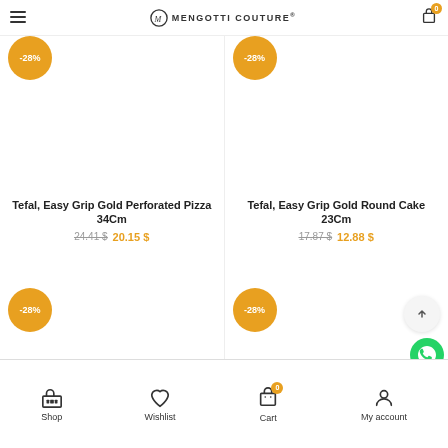Mengotti Couture — navigation header with menu, logo, cart (0 items)
Tefal, Easy Grip Gold Perforated Pizza 34Cm
24.41 $  20.15 $
-28%
Tefal, Easy Grip Gold Round Cake 23Cm
17.87 $  12.88 $
-28%
Shop  Wishlist  Cart (0)  My account